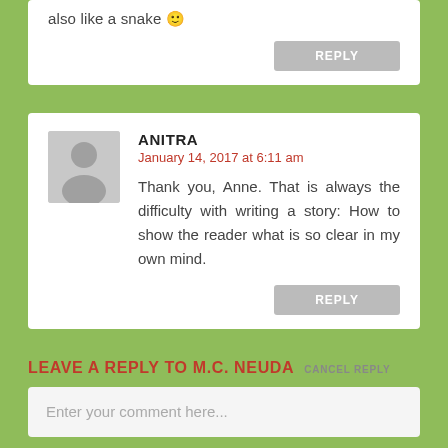also like a snake 🙂
REPLY
ANITRA
January 14, 2017 at 6:11 am
Thank you, Anne. That is always the difficulty with writing a story: How to show the reader what is so clear in my own mind.
REPLY
LEAVE A REPLY TO M.C. NEUDA CANCEL REPLY
Enter your comment here...